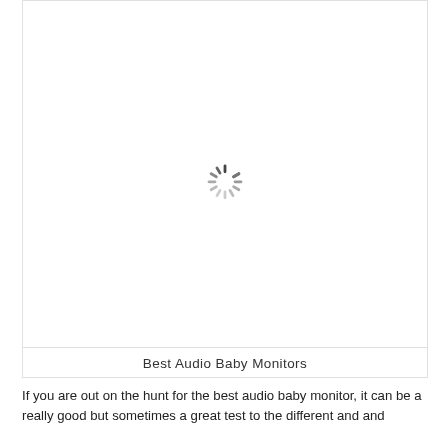[Figure (illustration): Loading spinner (animated wheel icon) centered in a white image placeholder box with a caption below reading 'Best Audio Baby Monitors']
Best Audio Baby Monitors
If you are out on the hunt for the best audio baby monitor, it can be a really good but sometimes a great test to the different and and